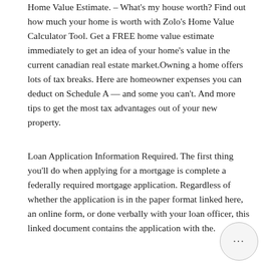Home Value Estimate. – What's my house worth? Find out how much your home is worth with Zolo's Home Value Calculator Tool. Get a FREE home value estimate immediately to get an idea of your home's value in the current canadian real estate market.Owning a home offers lots of tax breaks. Here are homeowner expenses you can deduct on Schedule A — and some you can't. And more tips to get the most tax advantages out of your new property.
Loan Application Information Required. The first thing you'll do when applying for a mortgage is complete a federally required mortgage application. Regardless of whether the application is in the paper format linked here, an online form, or done verbally with your loan officer, this linked document contains the application with the.